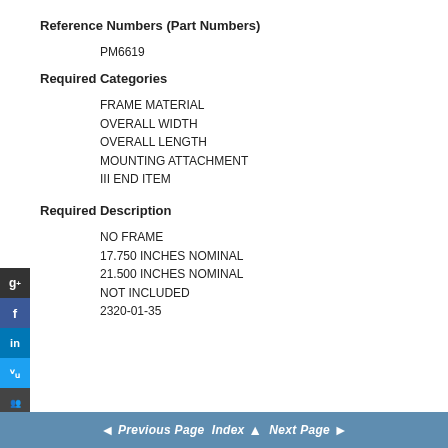Reference Numbers (Part Numbers)
PM6619
Required Categories
FRAME MATERIAL
OVERALL WIDTH
OVERALL LENGTH
MOUNTING ATTACHMENT
III END ITEM
Required Description
NO FRAME
17.750 INCHES NOMINAL
21.500 INCHES NOMINAL
NOT INCLUDED
2320-01-35
◄ Previous Page   Index ▲   Next Page ►